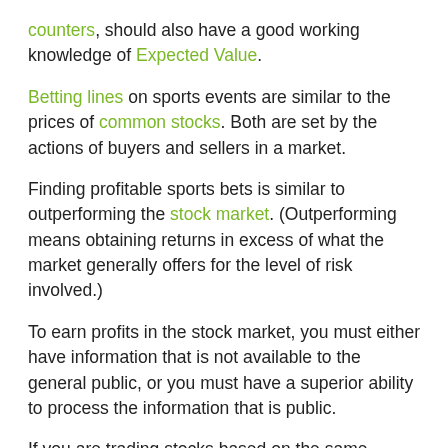counters, should also have a good working knowledge of Expected Value.
Betting lines on sports events are similar to the prices of common stocks. Both are set by the actions of buyers and sellers in a market.
Finding profitable sports bets is similar to outperforming the stock market. (Outperforming means obtaining returns in excess of what the market generally offers for the level of risk involved.)
To earn profits in the stock market, you must either have information that is not available to the general public, or you must have a superior ability to process the information that is public.
If you are trading stocks based on the same information that is available to other investors, and you do not have superior ability to figure out how that information will cause stock prices to change, you are